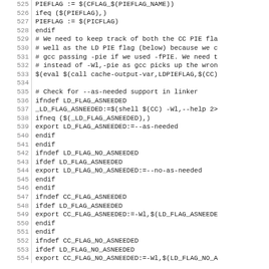Code listing lines 525-554, Makefile snippet
525  PIEFLAG := $(CFLAG_$(PIEFLAG_NAME))
526  ifeq ($(PIEFLAG),)
527  PIEFLAG := $(PICFLAG)
528  endif
529  # We need to keep track of both the CC PIE fla
530  # well as the LD PIE flag (below) because we c
531  # gcc passing -pie if we used -fPIE. We need t
532  # instead of -Wl,-pie as gcc picks up the wron
533  $(eval $(call cache-output-var,LDPIEFLAG,$(CC)
534
535  # Check for --as-needed support in linker
536  ifndef LD_FLAG_ASNEEDED
537  _LD_FLAG_ASNEEDED:=$(shell $(CC) -Wl,--help 2>
538  ifneq ($(_LD_FLAG_ASNEEDED),)
539  export LD_FLAG_ASNEEDED:=--as-needed
540  endif
541  endif
542  ifndef LD_FLAG_NO_ASNEEDED
543  ifdef LD_FLAG_ASNEEDED
544  export LD_FLAG_NO_ASNEEDED:=--no-as-needed
545  endif
546  endif
547  ifndef CC_FLAG_ASNEEDED
548  ifdef LD_FLAG_ASNEEDED
549  export CC_FLAG_ASNEEDED:=-Wl,$(LD_FLAG_ASNEEDE
550  endif
551  endif
552  ifndef CC_FLAG_NO_ASNEEDED
553  ifdef LD_FLAG_NO_ASNEEDED
554  export CC_FLAG_NO_ASNEEDED:=-Wl,$(LD_FLAG_NO_A